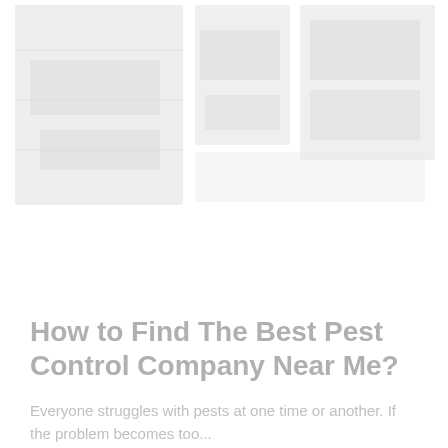[Figure (photo): Collage of pest control related images: a large faded image on the left, a narrow center image, and a right image, all appearing as light gray placeholders blended into a white background]
How to Find The Best Pest Control Company Near Me?
Everyone struggles with pests at one time or another. If the problem becomes too...
Read More